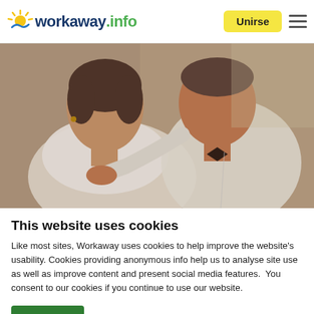workaway.info — Unirse
[Figure (photo): A couple dressed formally, woman in white lace dress, man in white shirt with bow tie, posing closely together at what appears to be a wedding or formal event.]
This website uses cookies
Like most sites, Workaway uses cookies to help improve the website's usability. Cookies providing anonymous info help us to analyse site use as well as improve content and present social media features.  You consent to our cookies if you continue to use our website.
OK   Settings